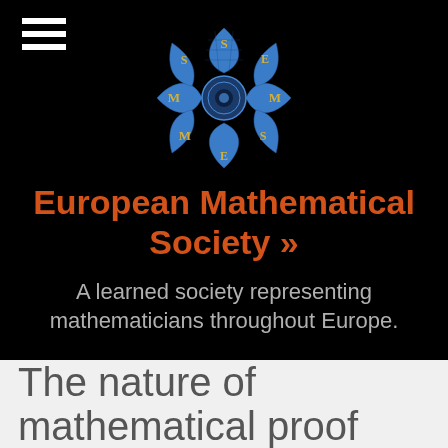[Figure (logo): EMS logo — a stylized blue star/globe shape with letters S, E, M, M, E, S arranged around a central circle, in blue with gold lettering]
European Mathematical Society »
A learned society representing mathematicians throughout Europe.
The nature of mathematical proof